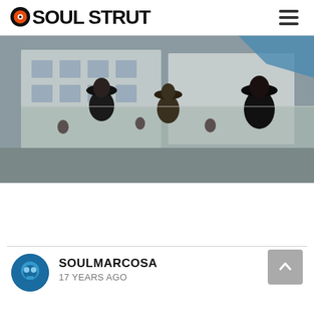SOUL STRUT
[Figure (photo): A film still showing men in dark coats and wide-brimmed hats walking on a street with storefronts and reflective glass windows. Street market scene, possibly from a classic film.]
SOULMARCOSA
17 YEARS AGO